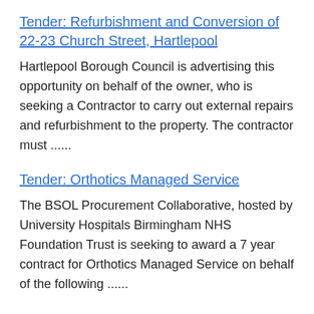Tender: Refurbishment and Conversion of 22-23 Church Street, Hartlepool
Hartlepool Borough Council is advertising this opportunity on behalf of the owner, who is seeking a Contractor to carry out external repairs and refurbishment to the property. The contractor must ......
Tender: Orthotics Managed Service
The BSOL Procurement Collaborative, hosted by University Hospitals Birmingham NHS Foundation Trust is seeking to award a 7 year contract for Orthotics Managed Service on behalf of the following ......